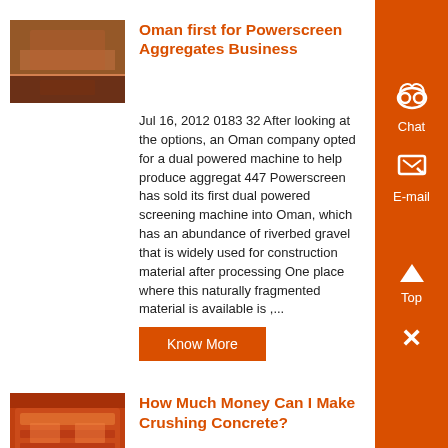[Figure (photo): Thumbnail image of a stadium or industrial facility with orange/brown tones]
Oman first for Powerscreen Aggregates Business
Jul 16, 2012 0183 32 After looking at the options, an Oman company opted for a dual powered machine to help produce aggregat 447 Powerscreen has sold its first dual powered screening machine into Oman, which has an abundance of riverbed gravel that is widely used for construction material after processing One place where this naturally fragmented material is available is ,...
Know More
[Figure (photo): Thumbnail image of orange industrial crushing/screening machinery]
How Much Money Can I Make Crushing Concrete?
How much money can you make or save crushing concrete? Bob of Rebel Crusher answers your questions Save on trucking and hauling fe Be your own boss Make....
Know More
Chat
E-mail
Top